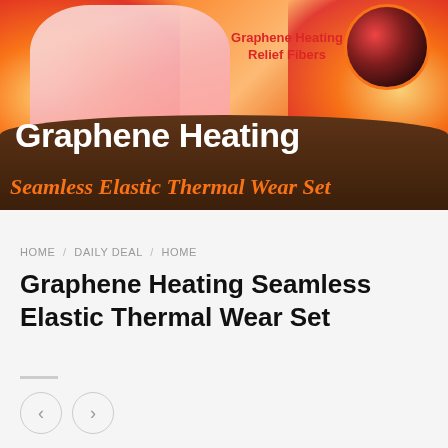[Figure (illustration): Product banner image for Graphene Heating Seamless Elastic Thermal Wear Set. Orange flame background with thermal clothing visible, a dark circular inset showing graphene heating imagery, badge text reading 'Graphene Heating Relief Fibers', large white bold text 'Graphene Heating' on a dark brown bar, and orange italic text 'Seamless Elastic Thermal Wear Set' below.]
HOME / DAILY DEAL / HOME
Graphene Heating Seamless Elastic Thermal Wear Set